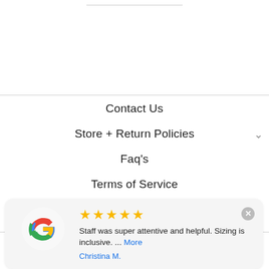Contact Us
Store + Return Policies
Faq's
Terms of Service
Privacy Policy
[Figure (other): Google review card with 5 gold stars, Google logo, review text: 'Staff was super attentive and helpful. Sizing is inclusive. ... More', reviewer name: Christina M.]